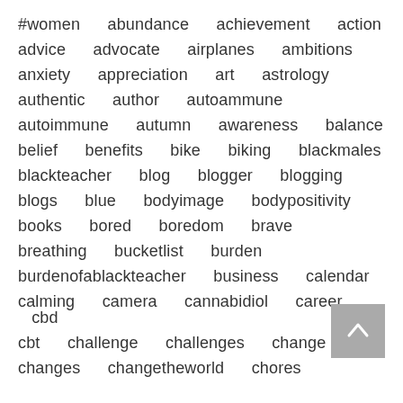#women  abundance  achievement  action  advice  advocate  airplanes  ambitions  anxiety  appreciation  art  astrology  authentic  author  autoammune  autoimmune  autumn  awareness  balance  belief  benefits  bike  biking  blackmales  blackteacher  blog  blogger  blogging  blogs  blue  bodyimage  bodypositivity  books  bored  boredom  brave  breathing  bucketlist  burden  burdenofablackteacher  business  calendar  calming  camera  cannabidiol  career  cbd  cbt  challenge  challenges  change  changes  changetheworld  chores